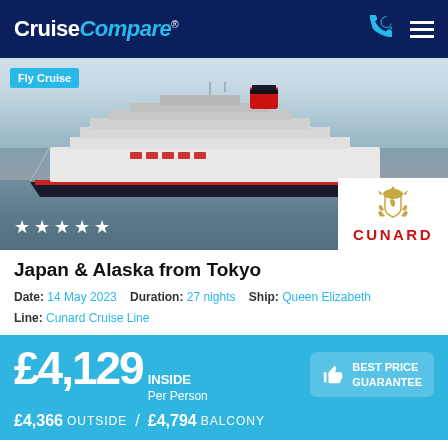CruiseCompare®
[Figure (photo): Large cruise ship (Queen Elizabeth by Cunard) sailing on calm water at dusk/dawn, with Cunard logo in bottom-right corner and 5 stars in bottom-left. Fly Cruise badge in top-left.]
Japan & Alaska from Tokyo
Date: 14 May 2023   Duration: 27 nights   Ship: Queen Elizabeth
Line: Cunard Cruise Line
£4,129 INSIDE Per Person   BEST PRICE GUARANTEE
£4,366 OUTSIDE / £4,794 BALCONY